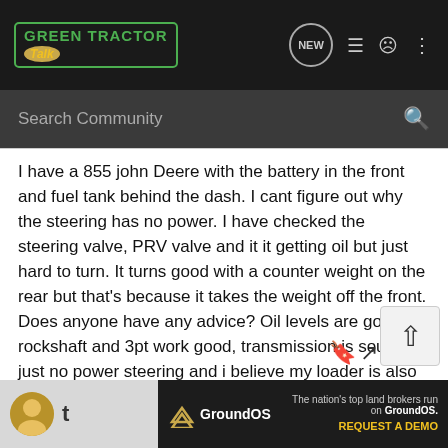Green Tractor Talk — NEW [icon] [list icon] [user icon] [more icon]
Search Community
I have a 855 john Deere with the battery in the front and fuel tank behind the dash. I cant figure out why the steering has no power. I have checked the steering valve, PRV valve and it it getting oil but just hard to turn. It turns good with a counter weight on the rear but that's because it takes the weight off the front. Does anyone have any advice? Oil levels are good, rockshaft and 3pt work good, transmission is sound. just no power steering and i believe my loader is also slow so it come back to the PRV valve. But i checked all the valves in the loader valve coup and no blockage.
[Figure (other): GroundOS advertisement banner: 'The nation's top land brokers run on GroundOS. REQUEST A DEMO']